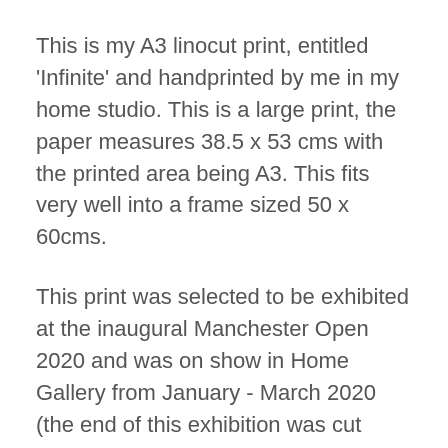This is my A3 linocut print, entitled 'Infinite' and handprinted by me in my home studio. This is a large print, the paper measures 38.5 x 53 cms with the printed area being A3. This fits very well into a frame sized 50 x 60cms.
This print was selected to be exhibited at the inaugural Manchester Open 2020 and was on show in Home Gallery from January - March 2020 (the end of this exhibition was cut short due to Covid-19). It was then selected for exhibition at Technically Brilliant Gallery in Warrington, here in the UK.
'Infinite' (and its sister print 'Eternal') is a very personal piece of work and is part of a